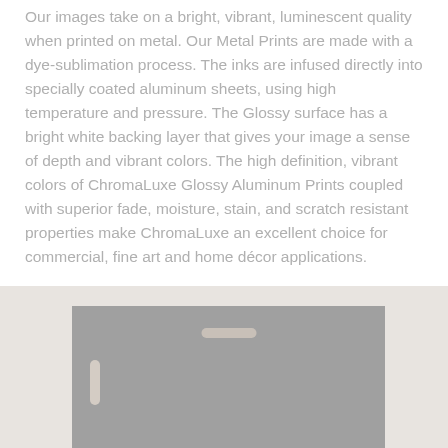Our images take on a bright, vibrant, luminescent quality when printed on metal. Our Metal Prints are made with a dye-sublimation process. The inks are infused directly into specially coated aluminum sheets, using high temperature and pressure. The Glossy surface has a bright white backing layer that gives your image a sense of depth and vibrant colors. The high definition, vibrant colors of ChromaLuxe Glossy Aluminum Prints coupled with superior fade, moisture, stain, and scratch resistant properties make ChromaLuxe an excellent choice for commercial, fine art and home décor applications.
[Figure (photo): A gray metal print panel with a small horizontal mounting slot near the top center and a small vertical slot on the left side, shown against a light gray background.]